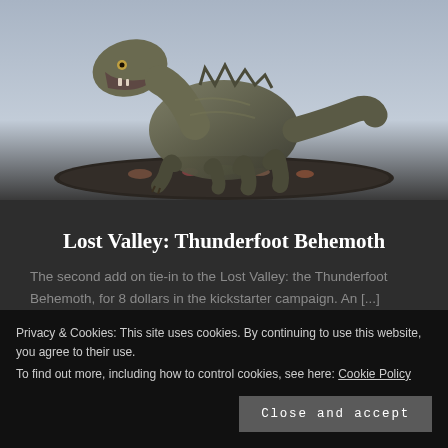[Figure (photo): Painted miniature figurine of a large dinosaur (Thunderfoot Behemoth) on a circular base with flocked ground cover, photographed against a light blue-grey background.]
Lost Valley: Thunderfoot Behemoth
The second add on tie-in to the Lost Valley: the Thunderfoot Behemoth, for 8 dollars in the kickstarter campaign. An [...]
APRIL 24, 2020
Privacy & Cookies: This site uses cookies. By continuing to use this website, you agree to their use.
To find out more, including how to control cookies, see here: Cookie Policy
Close and accept